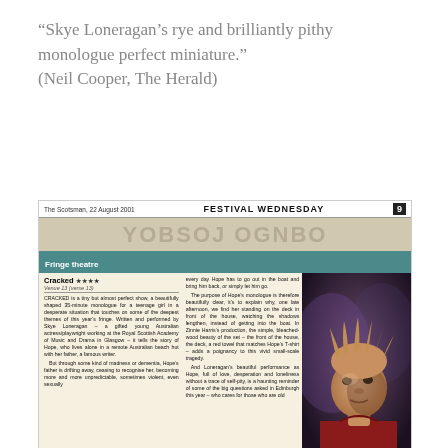“Skye Loneragan’s rye and brilliantly pithy monologue perfect miniature.” (Neil Cooper, The Herald)
[Figure (photo): Scanned newspaper clipping from The Scotsman, 22 August 2001, Festival Wednesday section. Shows a review of 'Cracked' (4 stars) with text columns and a photo of a performer in a red t-shirt with spiky hair.]